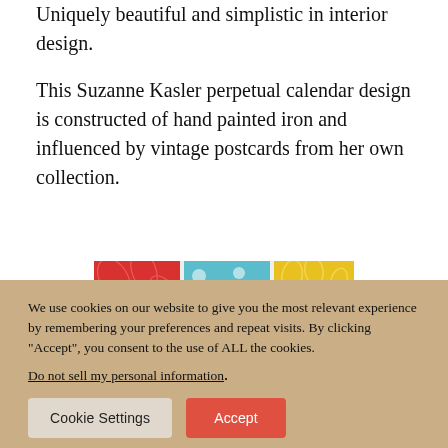Uniquely beautiful and simplistic in interior design.
This Suzanne Kasler perpetual calendar design is constructed of hand painted iron and influenced by vintage postcards from her own collection.
[Figure (photo): Three patterned fabric/card samples side by side: red floral pattern, teal/blue floral pattern, and yellow floral pattern.]
We use cookies on our website to give you the most relevant experience by remembering your preferences and repeat visits. By clicking “Accept”, you consent to the use of ALL the cookies. Do not sell my personal information.